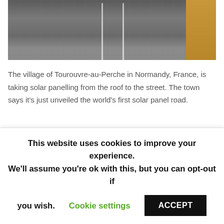[Figure (photo): Aerial or road-level view of a solar panel road — dark asphalt-like surface with grid lines (solar panels), white lane markings, and sandy verge on the right side.]
The village of Tourouvre-au-Perche in Normandy, France, is taking solar panelling from the roof to the street. The town says it's just unveiled the world's first solar panel road.
The 1 kilometre (0.6 mile) route, covered by 2,800 square metres of electricity-generating panels, was declared open on Thursday by the country's ecology minister, Ségolène Royal.
The panels have been covered with a protective resin
This website uses cookies to improve your experience. We'll assume you're ok with this, but you can opt-out if you wish. Cookie settings ACCEPT